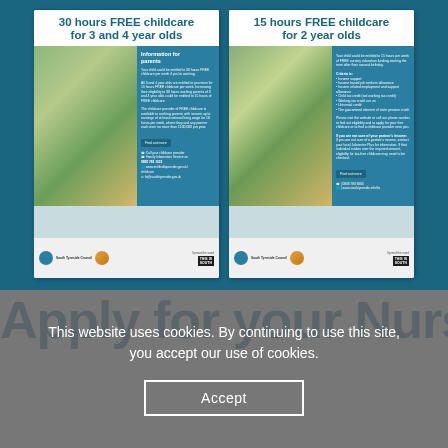[Figure (infographic): Two information leaflets side by side on a teal background. Left leaflet: '30 hours FREE childcare for 3 and 4 year olds – Information for parents' with photo of child and contact details. Right leaflet: '15 hours FREE childcare for 2 year olds' with similar layout.]
Apply for your Nursery Pl...
This website uses cookies. By continuing to use this site, you accept our use of cookies.
Accept